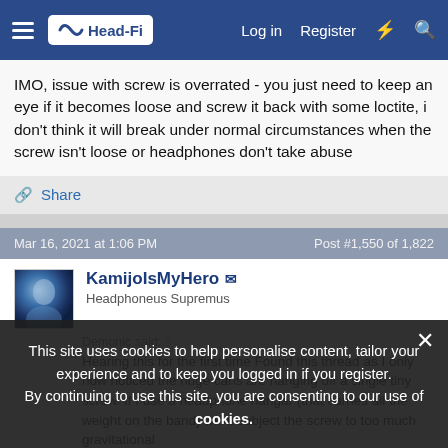Head-Fi — Navigation bar with Log in, Register, lightning, search icons
IMO, issue with screw is overrated - you just need to keep an eye if it becomes loose and screw it back with some loctite, i don't think it will break under normal circumstances when the screw isn't loose or headphones don't take abuse
Share
Mar 16, 2021 at 1:06 PM
Post #1,550 of 1,822
KamijoIsMyHero
Headphoneus Supremus
This site uses cookies to help personalise content, tailor your experience and to keep you logged in if you register. By continuing to use this site, you are consenting to our use of cookies.
Demonic said: ↑
Hearing this for the first time Found this thread as I only now noticed the huge cans are hanging off a single tiny screw. If I use a headphone hangar (that carries all the weight on the band) will it subject the screw to too much gravitational